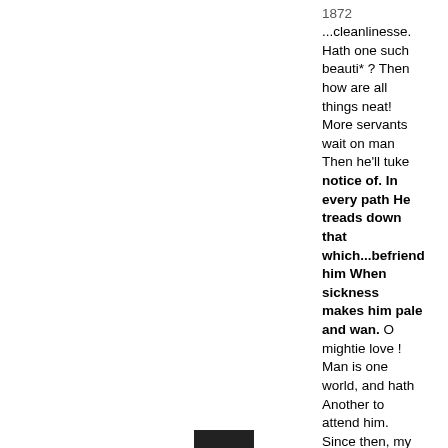1872
...cleanlinesse. Hath one such beauti* ? Then how are all things neat! More servants wait on man Then he'll tuke notice of. In every path He treads down that which...befriend him When sickness makes him pale and wan. O mightie love ! Man is one world, and hath Another to attend him. Since then, my God, thou hast So...
Full view - About this book